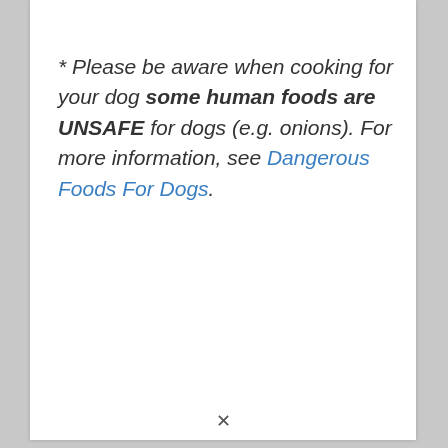* Please be aware when cooking for your dog some human foods are UNSAFE for dogs (e.g. onions). For more information, see Dangerous Foods For Dogs.